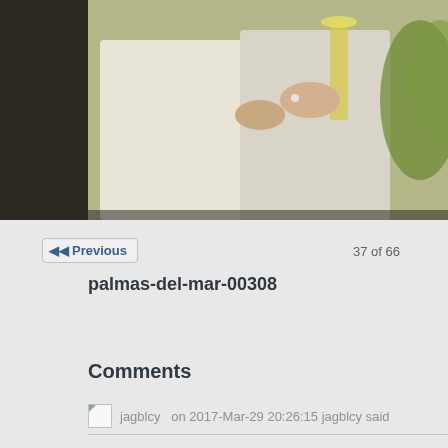[Figure (photo): Wedding photo showing people in white clothing holding champagne glasses, cropped view of torsos and hands]
Previous
37 of 66
palmas-del-mar-00308
Comments
jagblcy on 2017-Mar-29 20:26:15 jagblcy said
WxBD9q <a href="http://ixxplbwnqoum.com/">ixxplbwnqoum</a>, [u[link=http://trdwwucbevnp.com/]trdwwucbevnp[/link], http://exozzuuz...